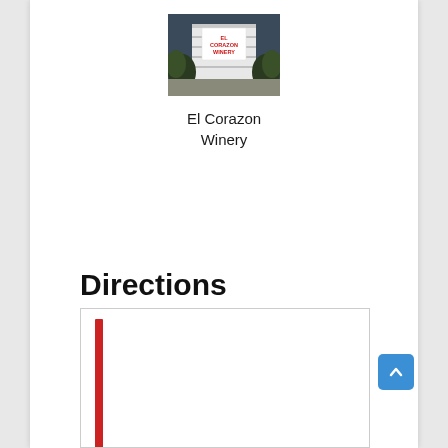[Figure (photo): Exterior photo of El Corazon Winery showing the building entrance with the winery name displayed in red text on a white background, flanked by dark bushes]
El Corazon Winery
Directions
[Figure (map): A map or directions box with a vertical red bar/line on the left side indicating a route or location marker]